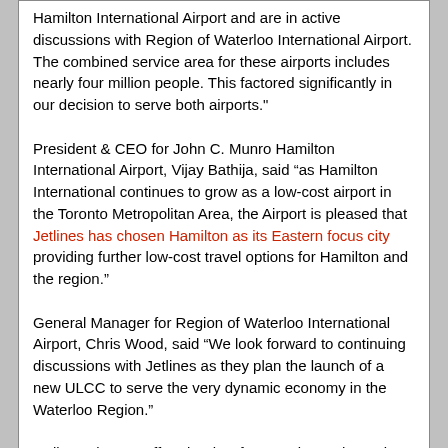Hamilton International Airport and are in active discussions with Region of Waterloo International Airport. The combined service area for these airports includes nearly four million people. This factored significantly in our decision to serve both airports."

President & CEO for John C. Munro Hamilton International Airport, Vijay Bathija, said “as Hamilton International continues to grow as a low-cost airport in the Toronto Metropolitan Area, the Airport is pleased that Jetlines has chosen Hamilton as its Eastern focus city providing further low-cost travel options for Hamilton and the region.”

General Manager for Region of Waterloo International Airport, Chris Wood, said “We look forward to continuing discussions with Jetlines as they plan the launch of a new ULCC to serve the very dynamic economy in the Waterloo Region.”

Jetlines plans to offer ultra-low fare service to the major markets in Canada and select destinations in the U.S., Mexico, and the Caribbean. Mr. Gadek added “Canadians are overpaying for air travel and we intend to change that. By offering customers the freedom to select the travel experience they want in addition to getting every day ultra-low fares, Jetlines will change the way that Canadians fly.”
jmt18325    Sep 11, 2017 2:36 PM
Quote:
Originally Posted by thenoflyzone (Post 7918342)
Started hearing rumors of a Canada-Ireland route being...